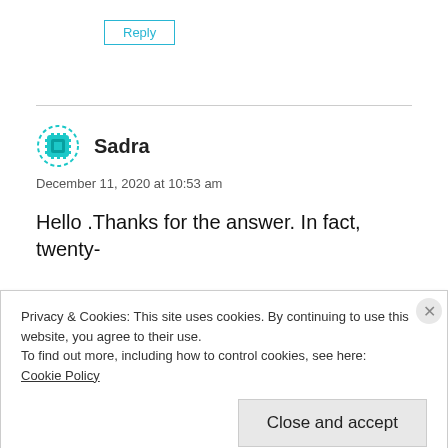Reply
Sadra
December 11, 2020 at 10:53 am
Hello .Thanks for the answer. In fact, twenty-
Privacy & Cookies: This site uses cookies. By continuing to use this website, you agree to their use.
To find out more, including how to control cookies, see here:
Cookie Policy
Close and accept